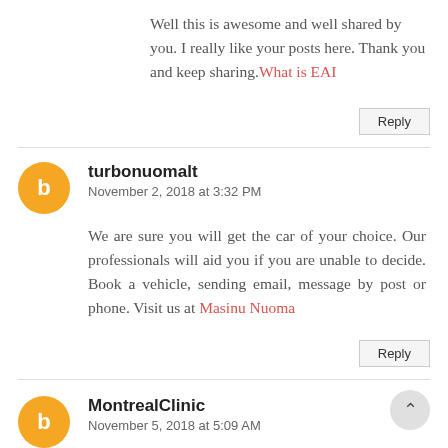Well this is awesome and well shared by you. I really like your posts here. Thank you and keep sharing. What is EAI
Reply
turbonuomalt
November 2, 2018 at 3:32 PM
We are sure you will get the car of your choice. Our professionals will aid you if you are unable to decide. Book a vehicle, sending email, message by post or phone. Visit us at Masinu Nuoma
Reply
MontrealClinic
November 5, 2018 at 5:09 AM
The way the Hollywood actors smile is just mind-